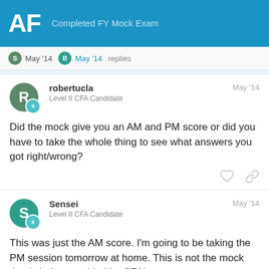AF Completed FY Mock Exam
S May '14  B May '14  replies
robertucla
Level II CFA Candidate
May '14
Did the mock give you an AM and PM score or did you have to take the whole thing to see what answers you got right/wrong?
Sensei
Level II CFA Candidate
May '14
This was just the AM score. I'm going to be taking the PM session tomorrow at home. This is not the mock that is being provided by CFAI.